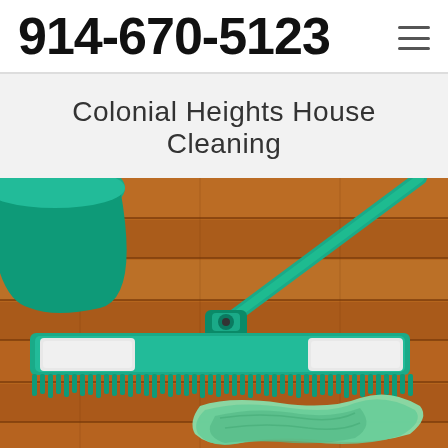914-670-5123
Colonial Heights House Cleaning
[Figure (photo): A green flat mop with microfiber chenille fringe resting on a hardwood floor, alongside a crumpled green microfiber cloth, with a green bucket visible in the background.]